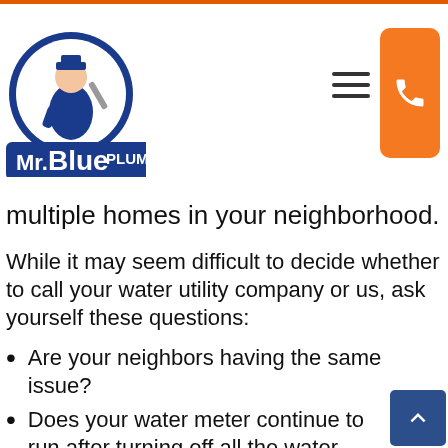[Figure (logo): Mr. Blue Plumbing logo with plumber character inside a circle and blue banner with white text]
multiple homes in your neighborhood.
While it may seem difficult to decide whether to call your water utility company or us, ask yourself these questions:
Are your neighbors having the same issue?
Does your water meter continue to run after turning off all the water sources in your home?